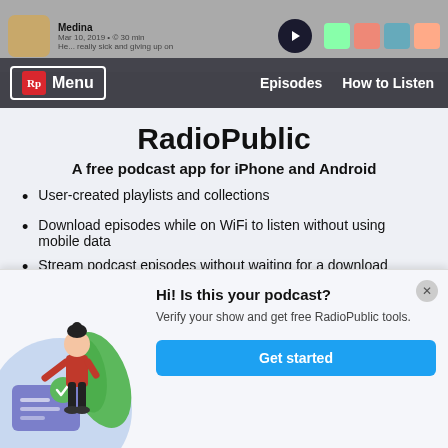[Figure (screenshot): RadioPublic podcast app website header with navigation menu showing Rp logo, Menu button, Episodes and How to Listen links]
RadioPublic
A free podcast app for iPhone and Android
User-created playlists and collections
Download episodes while on WiFi to listen without using mobile data
Stream podcast episodes without waiting for a download
Queue episodes to create a personal
[Figure (illustration): Illustration of a woman with dark hair standing next to a document with a checkmark, surrounded by green leaves on a light blue circle background]
Hi! Is this your podcast?
Verify your show and get free RadioPublic tools.
Get started